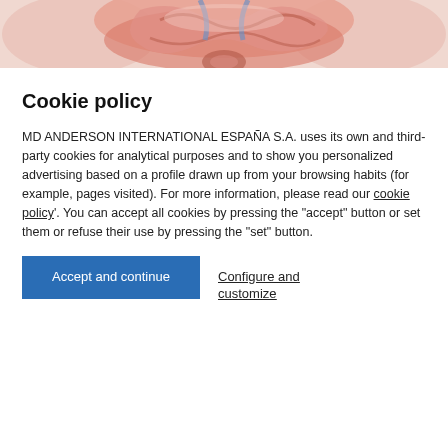[Figure (illustration): Partial anatomical illustration showing internal organs (intestines/abdomen), medical illustration style with pink/red tones, cropped at top of page.]
Cookie policy
MD ANDERSON INTERNATIONAL ESPAÑA S.A. uses its own and third-party cookies for analytical purposes and to show you personalized advertising based on a profile drawn up from your browsing habits (for example, pages visited). For more information, please read our cookie policy'. You can accept all cookies by pressing the "accept" button or set them or refuse their use by pressing the "set" button.
Accept and continue   Configure and customize